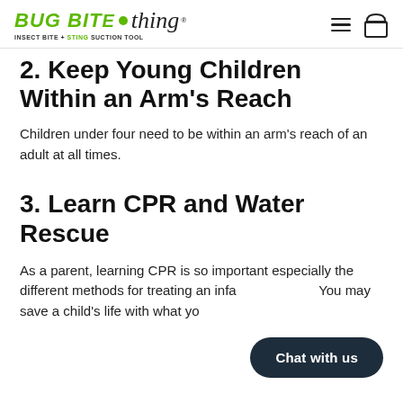Bug Bite Thing - Insect Bite + Sting Suction Tool
2. Keep Young Children Within an Arm's Reach
Children under four need to be within an arm's reach of an adult at all times.
3. Learn CPR and Water Rescue
As a parent, learning CPR is so important especially the different methods for treating an infant vs. a child. You may save a child's life with what yo...